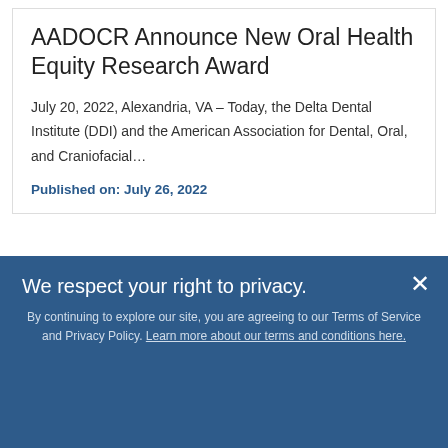AADOCR Announce New Oral Health Equity Research Award
July 20, 2022, Alexandria, VA – Today, the Delta Dental Institute (DDI) and the American Association for Dental, Oral, and Craniofacial…
Published on: July 26, 2022
We respect your right to privacy.
By continuing to explore our site, you are agreeing to our Terms of Service and Privacy Policy. Learn more about our terms and conditions here.